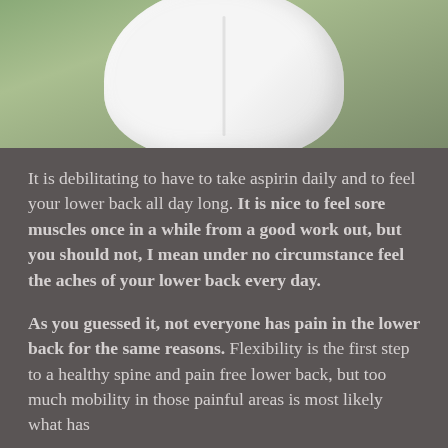[Figure (photo): Close-up photo of a person's lower back area wearing white clothing, with a green outdoor background]
It is debilitating to have to take aspirin daily and to feel your lower back all day long. It is nice to feel sore muscles once in a while from a good work out, but you should not, I mean under no circumstance feel the aches of your lower back every day.
As you guessed it, not everyone has pain in the lower back for the same reasons. Flexibility is the first step to a healthy spine and pain free lower back, but too much mobility in those painful areas is most likely what has...